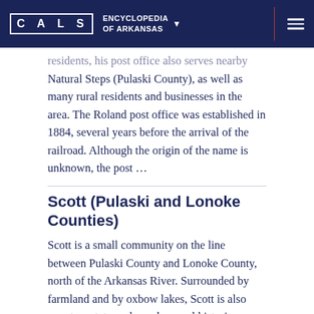CALS ENCYCLOPEDIA OF ARKANSAS
residents, his post office also serves nearby Natural Steps (Pulaski County), as well as many rural residents and businesses in the area. The Roland post office was established in 1884, several years before the arrival of the railroad. Although the origin of the name is unknown, the post …
Scott (Pulaski and Lonoke Counties)
Scott is a small community on the line between Pulaski County and Lonoke County, north of the Arkansas River. Surrounded by farmland and by oxbow lakes, Scott is also near two state parks and several historic properties. Over the centuries, events such as floods, droughts, and most recently human construction have alte…